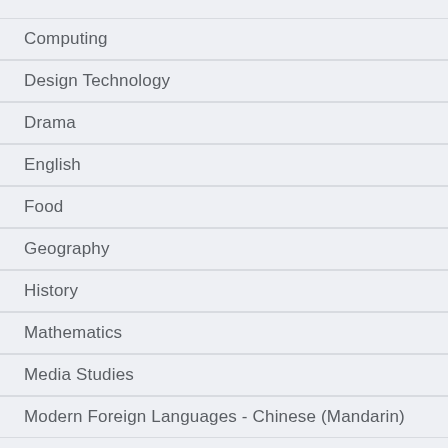Computing
Design Technology
Drama
English
Food
Geography
History
Mathematics
Media Studies
Modern Foreign Languages - Chinese (Mandarin)